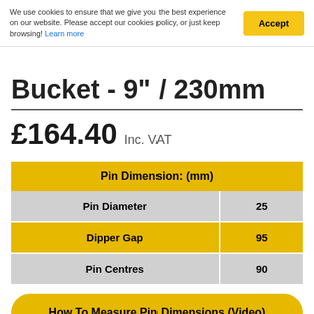We use cookies to ensure that we give you the best experience on our website. Please accept our cookies policy, or just keep browsing! Learn more
Bucket - 9" / 230mm
£164.40 Inc. VAT
| Pin Dimension: (mm) |  |
| --- | --- |
| Pin Diameter | 25 |
| Dipper Gap | 95 |
| Pin Centres | 90 |
How To Measure Pin Dimensions (Video)